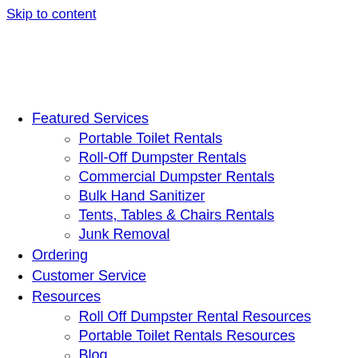Skip to content
Featured Services
Portable Toilet Rentals
Roll-Off Dumpster Rentals
Commercial Dumpster Rentals
Bulk Hand Sanitizer
Tents, Tables & Chairs Rentals
Junk Removal
Ordering
Customer Service
Resources
Roll Off Dumpster Rental Resources
Portable Toilet Rentals Resources
Blog
About
Contact
Client Login